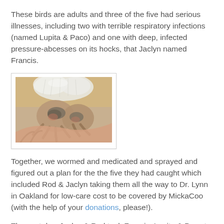These birds are adults and three of the five had serious illnesses, including two with terrible respiratory infections (named Lupita & Paco) and one with deep, infected pressure-abcesses on its hocks, that Jaclyn named Francis.
[Figure (photo): Close-up photo of a bird's feet/hocks held in human hands, showing infected pressure sores on the hocks, with white feathers visible above.]
Together, we wormed and medicated and sprayed and figured out a plan for the the five they had caught which included Rod & Jaclyn taking them all the way to Dr. Lynn in Oakland for low-care cost to be covered by MickaCoo (with the help of your donations, please!).
The next day, Jaclyn & Rod took Francis, Lupita & Paco to